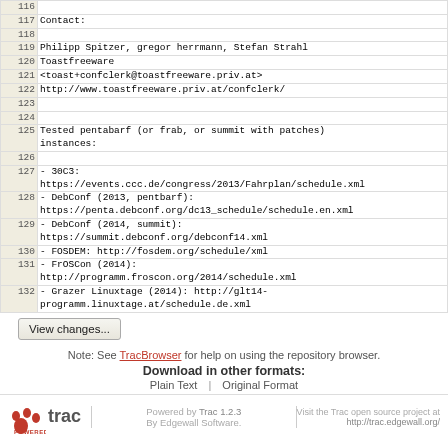| line | content |
| --- | --- |
| 116 |  |
| 117 | Contact: |
| 118 |  |
| 119 | Philipp Spitzer, gregor herrmann, Stefan Strahl |
| 120 | Toastfreeware |
| 121 | <toast+confclerk@toastfreeware.priv.at> |
| 122 | http://www.toastfreeware.priv.at/confclerk/ |
| 123 |  |
| 124 |  |
| 125 | Tested pentabarf (or frab, or summit with patches)
instances: |
| 126 |  |
| 127 | - 30C3:
https://events.ccc.de/congress/2013/Fahrplan/schedule.xml |
| 128 | - DebConf (2013, pentbarf):
https://penta.debconf.org/dc13_schedule/schedule.en.xml |
| 129 | - DebConf (2014, summit):
https://summit.debconf.org/debconf14.xml |
| 130 | - FOSDEM: http://fosdem.org/schedule/xml |
| 131 | - FrOSCon (2014):
http://programm.froscon.org/2014/schedule.xml |
| 132 | - Grazer Linuxtage (2014): http://glt14-programm.linuxtage.at/schedule.de.xml |
View changes...
Note: See TracBrowser for help on using the repository browser.
Download in other formats:
Plain Text | Original Format
Powered by Trac 1.2.3 By Edgewall Software. Visit the Trac open source project at http://trac.edgewall.org/